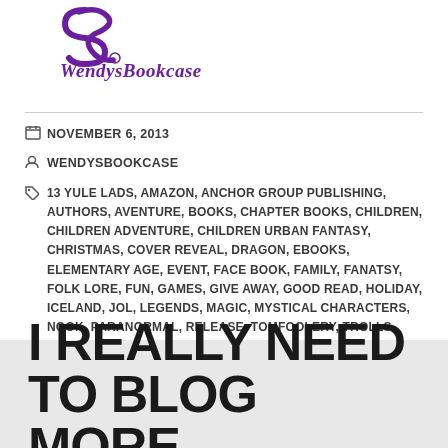[Figure (logo): WendysBookcase logo with purple stylized S icon and italic purple text reading WendysBookcase]
NOVEMBER 6, 2013
WENDYSBOOKCASE
13 YULE LADS, AMAZON, ANCHOR GROUP PUBLISHING, AUTHORS, AVENTURE, BOOKS, CHAPTER BOOKS, CHILDREN, CHILDREN ADVENTURE, CHILDREN URBAN FANTASY, CHRISTMAS, COVER REVEAL, DRAGON, EBOOKS, ELEMENTARY AGE, EVENT, FACE BOOK, FAMILY, FANATSY, FOLK LORE, FUN, GAMES, GIVE AWAY, GOOD READ, HOLIDAY, ICELAND, JOL, LEGENDS, MAGIC, MYSTICAL CHARACTERS, NOOK, PARANORMAL, RELEASE, TOMFOOLERY, TROLLS, YOUNG ADULT, YULETIDE SEASON
1 COMMENT
I REALLY NEED TO BLOG MORE